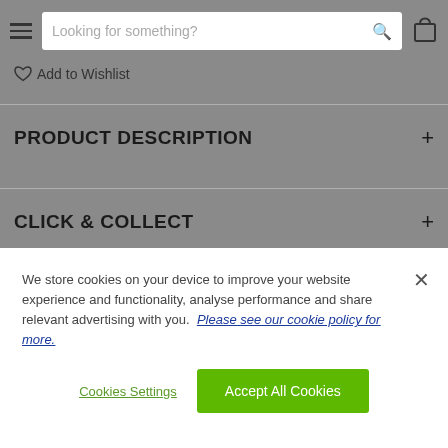Looking for something? [search bar with search icon and bag icon]
♡ Add to Wishlist
PRODUCT DESCRIPTION +
CLICK & COLLECT +
We store cookies on your device to improve your website experience and functionality, analyse performance and share relevant advertising with you. Please see our cookie policy for more.
Cookies Settings
Accept All Cookies